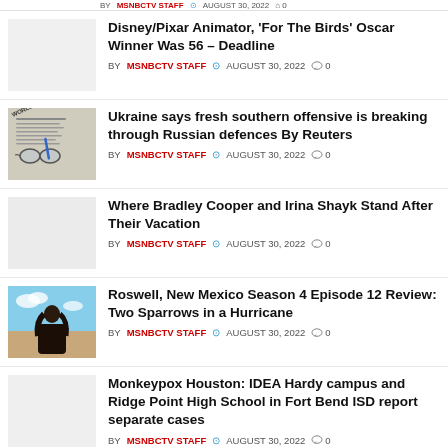BY MSNBCTV STAFF  AUGUST 30, 2022  0
Disney/Pixar Animator, 'For The Birds' Oscar Winner Was 56 – Deadline
BY MSNBCTV STAFF  AUGUST 30, 2022  0
Ukraine says fresh southern offensive is breaking through Russian defences By Reuters
BY MSNBCTV STAFF  AUGUST 30, 2022  0
Where Bradley Cooper and Irina Shayk Stand After Their Vacation
BY MSNBCTV STAFF  AUGUST 30, 2022  0
Roswell, New Mexico Season 4 Episode 12 Review: Two Sparrows in a Hurricane
BY MSNBCTV STAFF  AUGUST 30, 2022  0
Monkeypox Houston: IDEA Hardy campus and Ridge Point High School in Fort Bend ISD report separate cases
BY MSNBCTV STAFF  AUGUST 30, 2022  0